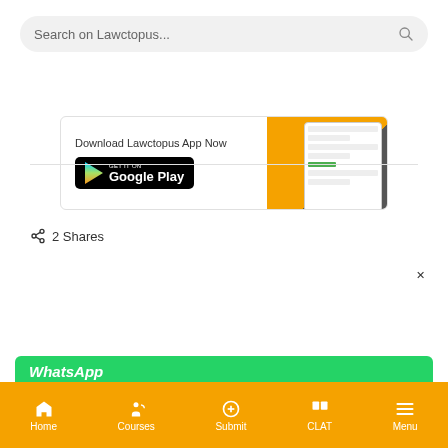Search on Lawctopus...
[Figure (screenshot): Download Lawctopus App Now banner with Google Play button and phone mockup on orange background]
[Figure (infographic): Social share icons: LinkedIn, Twitter, Facebook, WhatsApp, Telegram - dark circular buttons]
2 Shares
[Figure (infographic): Lawctopus App promo bar in blue: app icon, title Lawctopus App, 4.7/5 on Google Play rating, Open in App button, close X button]
[Figure (infographic): Green WhatsApp strip at bottom partially visible]
Home  Courses  Submit  CLAT  Menu